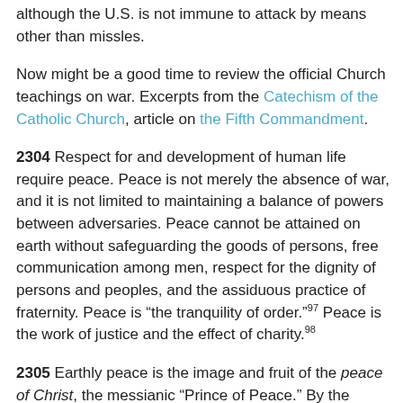although the U.S. is not immune to attack by means other than missles.
Now might be a good time to review the official Church teachings on war. Excerpts from the Catechism of the Catholic Church, article on the Fifth Commandment.
2304 Respect for and development of human life require peace. Peace is not merely the absence of war, and it is not limited to maintaining a balance of powers between adversaries. Peace cannot be attained on earth without safeguarding the goods of persons, free communication among men, respect for the dignity of persons and peoples, and the assiduous practice of fraternity. Peace is "the tranquility of order."97 Peace is the work of justice and the effect of charity.98
2305 Earthly peace is the image and fruit of the peace of Christ, the messianic "Prince of Peace." By the blood of his Cross, "in his own person he killed the hostility,"100 he reconciled men with God and made his Church the